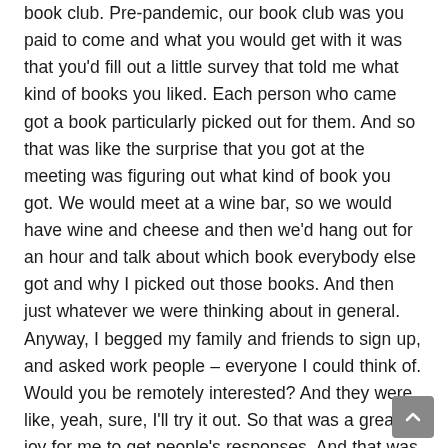book club. Pre-pandemic, our book club was you paid to come and what you would get with it was that you'd fill out a little survey that told me what kind of books you liked. Each person who came got a book particularly picked out for them. And so that was like the surprise that you got at the meeting was figuring out what kind of book you got. We would meet at a wine bar, so we would have wine and cheese and then we'd hang out for an hour and talk about which book everybody else got and why I picked out those books. And then just whatever we were thinking about in general. Anyway, I begged my family and friends to sign up, and asked work people – everyone I could think of. Would you be remotely interested? And they were like, yeah, sure, I'll try it out. So that was a great joy for me to get people's responses. And that was super fun. You think one way about a person it's like judging a book by its cover. You think like this person must like X, Y, Z, and then they fill out their reading survey and I'm like, Huh. I never would have guessed that. That's really weird. And then I would pick out books based on that. to me, a, from, and, based, distributed